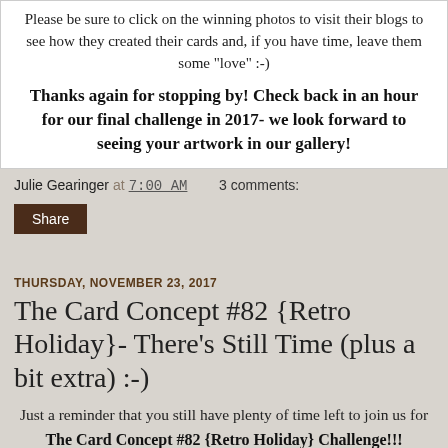Please be sure to click on the winning photos to visit their blogs to see how they created their cards and, if you have time, leave them some "love" :-)
Thanks again for stopping by! Check back in an hour for our final challenge in 2017- we look forward to seeing your artwork in our gallery!
Julie Gearinger at 7:00 AM   3 comments:
Share
THURSDAY, NOVEMBER 23, 2017
The Card Concept #82 {Retro Holiday}- There's Still Time (plus a bit extra) :-)
Just a reminder that you still have plenty of time left to join us for
The Card Concept #82 {Retro Holiday} Challenge!!!
Due to the Thanksgiving Holiday, we have extended